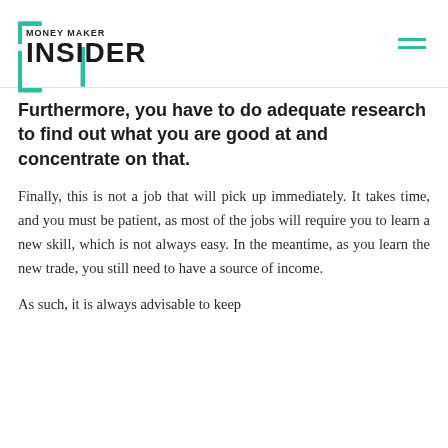MONEY MAKER INSIDER
Furthermore, you have to do adequate research to find out what you are good at and concentrate on that.
Finally, this is not a job that will pick up immediately. It takes time, and you must be patient, as most of the jobs will require you to learn a new skill, which is not always easy. In the meantime, as you learn the new trade, you still need to have a source of income.
As such, it is always advisable to keep